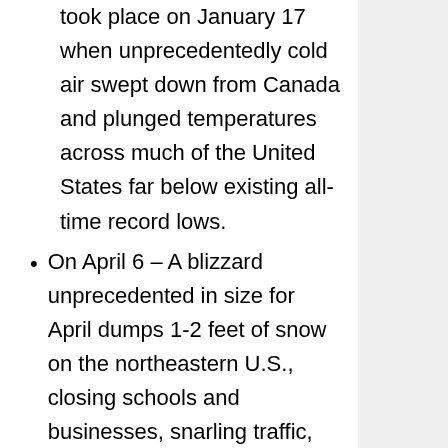took place on January 17 when unprecedentedly cold air swept down from Canada and plunged temperatures across much of the United States far below existing all-time record lows.
On April 6 – A blizzard unprecedented in size for April dumps 1-2 feet of snow on the northeastern U.S., closing schools and businesses, snarling traffic, and canceling several major league baseball games.
U.S. Brigadier General James L. Dozier is rescued by Italian anti-terrorism forces after 42 days of